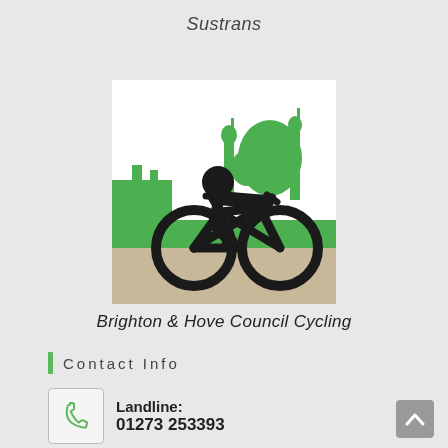Sustrans
[Figure (logo): Brighton & Hove Council Cycling logo: a black stick-figure cyclist silhouette on a bicycle, set against a green skyline of Brighton (including dome/pavilion shapes), on a white and beige ground background.]
Brighton & Hove Council Cycling
Contact Info
Landline:
01273 253393